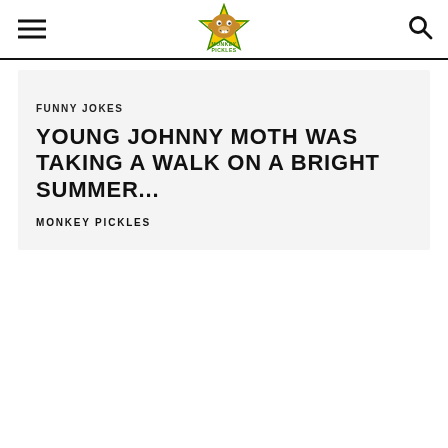[Figure (logo): Monkey Pickles logo: cartoon monkey face in yellow star shape with green text 'MONKEY PICKLES']
FUNNY JOKES
YOUNG JOHNNY MOTH WAS TAKING A WALK ON A BRIGHT SUMMER...
MONKEY PICKLES